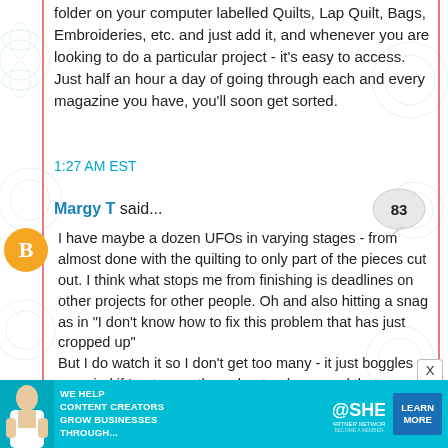folder on your computer labelled Quilts, Lap Quilt, Bags, Embroideries, etc. and just add it, and whenever you are looking to do a particular project - it's easy to access. Just half an hour a day of going through each and every magazine you have, you'll soon get sorted.
1:27 AM EST
Margy T said...
I have maybe a dozen UFOs in varying stages - from almost done with the quilting to only part of the pieces cut out. I think what stops me from finishing is deadlines on other projects for other people. Oh and also hitting a snag as in "I don't know how to fix this problem that has just cropped up"
But I do watch it so I don't get too many - it just boggles my mind if I get more than about a dozen and that very thing will also be a snag.
As long as I'm up here in my studio sewing on
[Figure (infographic): SHE Partner Network advertisement banner with photo of woman, text 'We help content creators grow businesses through...' and 'LEARN MORE' button]